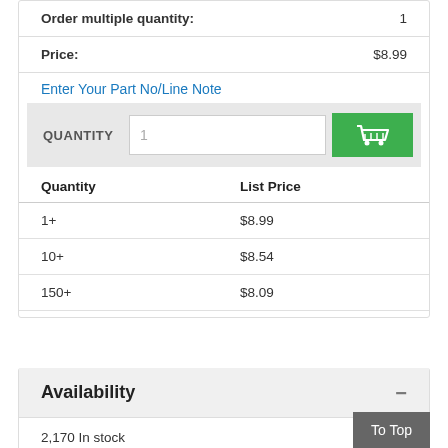Order multiple quantity: 1
Price: $8.99
Enter Your Part No/Line Note
| Quantity | List Price |
| --- | --- |
| 1+ | $8.99 |
| 10+ | $8.54 |
| 150+ | $8.09 |
Availability
2,170 In stock